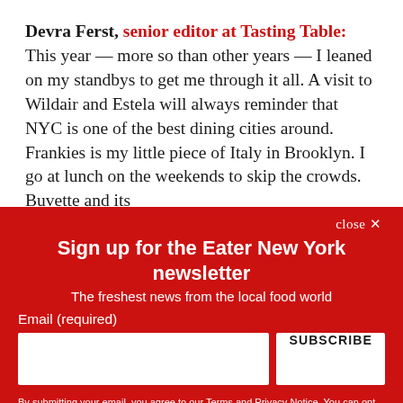Devra Ferst, senior editor at Tasting Table: This year — more so than other years — I leaned on my standbys to get me through it all. A visit to Wildair and Estela will always reminder that NYC is one of the best dining cities around. Frankies is my little piece of Italy in Brooklyn. I go at lunch on the weekends to skip the crowds. Buvette and its
close ✕
Sign up for the Eater New York newsletter
The freshest news from the local food world
Email (required)
SUBSCRIBE
By submitting your email, you agree to our Terms and Privacy Notice. You can opt out at any time. This site is protected by reCAPTCHA and the Google Privacy Policy and Terms of Service apply.